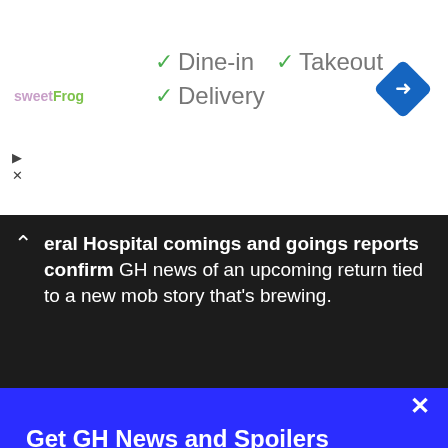[Figure (logo): sweetFrog frozen yogurt logo]
✓ Dine-in  ✓ Takeout
✓ Delivery
[Figure (logo): Blue diamond navigation icon with right arrow]
eral Hospital comings and goings reports confirm GH news of an upcoming return tied to a new mob story that's brewing.
Get GH News and Spoilers Emailed Daily
Sign up now
Email
Sign up